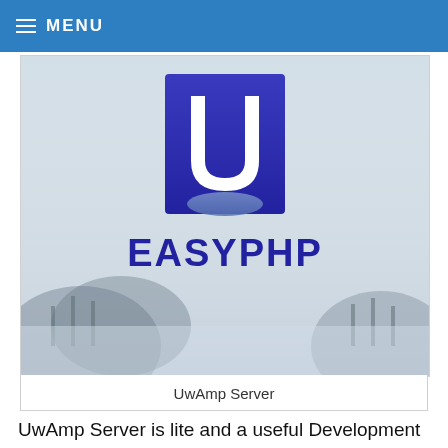≡ MENU
[Figure (logo): EasyPHP logo with large blue square containing a stylized white U letter and mountain/mist background, with EASYPHP text in bold blue below]
UwAmp Server
UwAmp Server is lite and a useful Development tool for web developer and application for Windows User. That best part in UwAmp Server is that. It has very attractive and user-friendly interference. Everything is included in one dialog box. Where web developer can easily manage for one click. Further UwA...